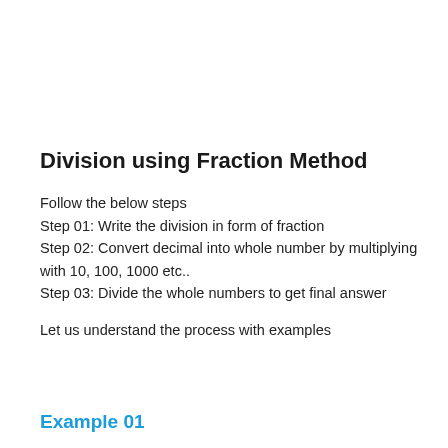Division using Fraction Method
Follow the below steps
Step 01: Write the division in form of fraction
Step 02: Convert decimal into whole number by multiplying with 10, 100, 1000 etc..
Step 03: Divide the whole numbers to get final answer
Let us understand the process with examples
Example 01